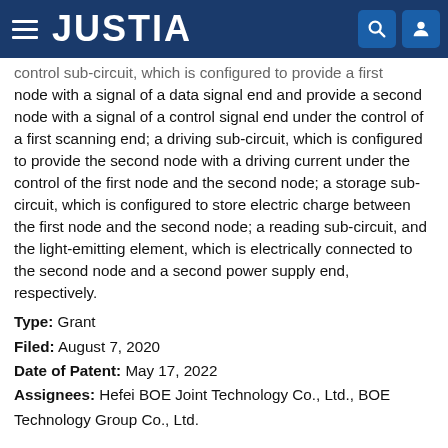JUSTIA
control sub-circuit, which is configured to provide a first node with a signal of a data signal end and provide a second node with a signal of a control signal end under the control of a first scanning end; a driving sub-circuit, which is configured to provide the second node with a driving current under the control of the first node and the second node; a storage sub-circuit, which is configured to store electric charge between the first node and the second node; a reading sub-circuit, and the light-emitting element, which is electrically connected to the second node and a second power supply end, respectively.
Type: Grant
Filed: August 7, 2020
Date of Patent: May 17, 2022
Assignees: Hefei BOE Joint Technology Co., Ltd., BOE Technology Group Co., Ltd.